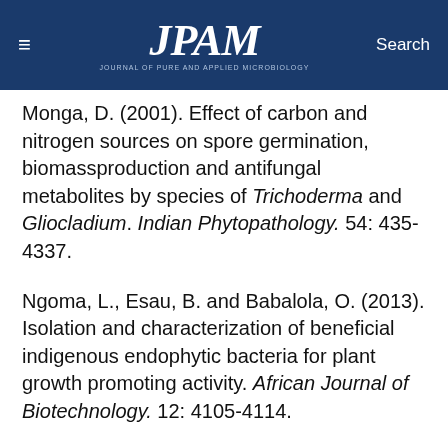≡  JPAM  Search
Monga, D. (2001). Effect of carbon and nitrogen sources on spore germination, biomassproduction and antifungal metabolites by species of Trichoderma and Gliocladium. Indian Phytopathology. 54: 435-4337.
Ngoma, L., Esau, B. and Babalola, O. (2013). Isolation and characterization of beneficial indigenous endophytic bacteria for plant growth promoting activity. African Journal of Biotechnology. 12: 4105-4114.
Okay, S., Ozdal, M. and Kurbnoglu, E.B. (2008). Characterization antifungal activity and all...